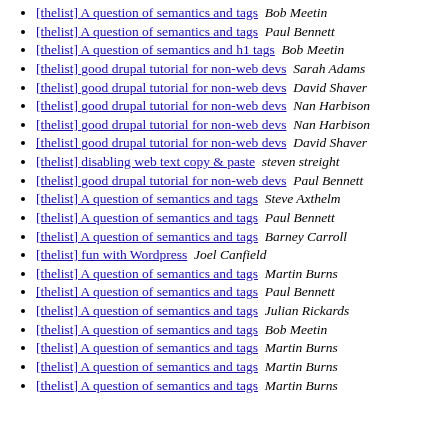[thelist] A question of semantics and tags  Bob Meetin
[thelist] A question of semantics and tags  Paul Bennett
[thelist] A question of semantics and h1 tags  Bob Meetin
[thelist] good drupal tutorial for non-web devs  Sarah Adams
[thelist] good drupal tutorial for non-web devs  David Shaver
[thelist] good drupal tutorial for non-web devs  Nan Harbison
[thelist] good drupal tutorial for non-web devs  Nan Harbison
[thelist] good drupal tutorial for non-web devs  David Shaver
[thelist] disabling web text copy & paste  steven streight
[thelist] good drupal tutorial for non-web devs  Paul Bennett
[thelist] A question of semantics and tags  Steve Axthelm
[thelist] A question of semantics and tags  Paul Bennett
[thelist] A question of semantics and tags  Barney Carroll
[thelist] fun with Wordpress  Joel Canfield
[thelist] A question of semantics and tags  Martin Burns
[thelist] A question of semantics and tags  Paul Bennett
[thelist] A question of semantics and tags  Julian Rickards
[thelist] A question of semantics and tags  Bob Meetin
[thelist] A question of semantics and tags  Martin Burns
[thelist] A question of semantics and tags  Martin Burns
[thelist] A question of semantics and tags  Martin Burns